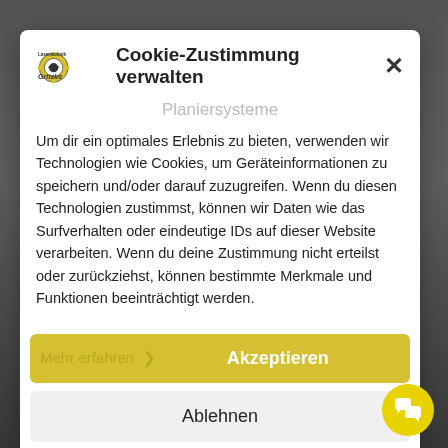[Figure (screenshot): Website background with dark overlay]
Cookie-Zustimmung verwalten
Planiersysteme
Um dir ein optimales Erlebnis zu bieten, verwenden wir Technologien wie Cookies, um Geräteinformationen zu speichern und/oder darauf zuzugreifen. Wenn du diesen Technologien zustimmst, können wir Daten wie das Surfverhalten oder eindeutige IDs auf dieser Website verarbeiten. Wenn du deine Zustimmung nicht erteilst oder zurückziehst, können bestimmte Merkmale und Funktionen beeinträchtigt werden.
Mehr erfahren  >    Akzeptieren
Ablehnen
Einstellungen ansehen
Cookie-Richtlinie   Datenschutz   Impressum